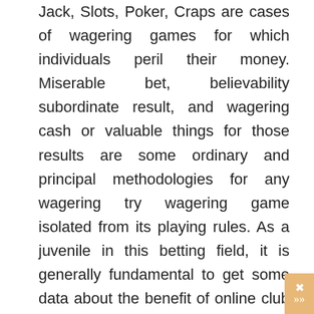Jack, Slots, Poker, Craps are cases of wagering games for which individuals peril their money. Miserable bet, believability subordinate result, and wagering cash or valuable things for those results are some ordinary and principal methodologies for any wagering try wagering game isolated from its playing rules. As a juvenile in this betting field, it is generally fundamental to get some data about the benefit of online club wagering, winning rate, and thoughts essential for win. Tips for winning such a betting club long shot [Korean characters] from betting boldness game to video game because of their methodologies of making some great memories Winning rate cannot be check and moreover there is no particular